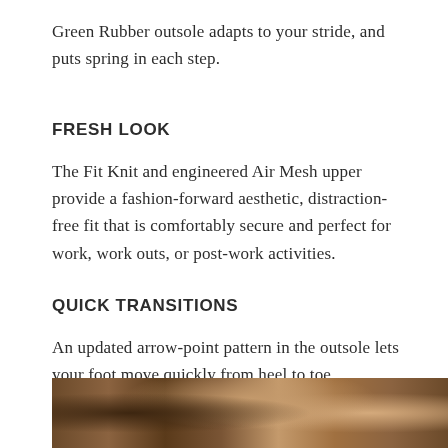Green Rubber outsole adapts to your stride, and puts spring in each step.
FRESH LOOK
The Fit Knit and engineered Air Mesh upper provide a fashion-forward aesthetic, distraction-free fit that is comfortably secure and perfect for work, work outs, or post-work activities.
QUICK TRANSITIONS
An updated arrow-point pattern in the outsole lets your foot move quickly from heel to toe.
[Figure (photo): Photo of shoes/footwear from a low angle showing the soles and heels, warm brown tones on a wooden surface]